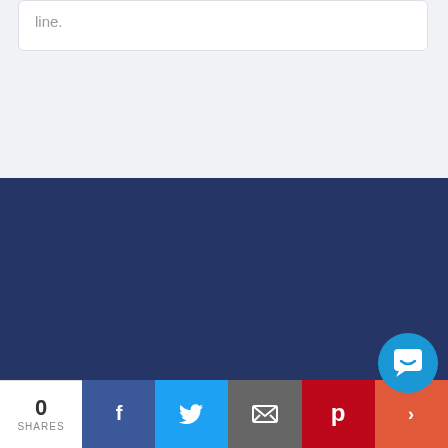line.
[Figure (illustration): Document icon with lines on dark blue background]
Create and access documents anytime
[Figure (infographic): Social share bar with 0 SHARES, Facebook, Twitter, Email, Pinterest, and More buttons. An Amazon chat bubble icon is overlaid.]